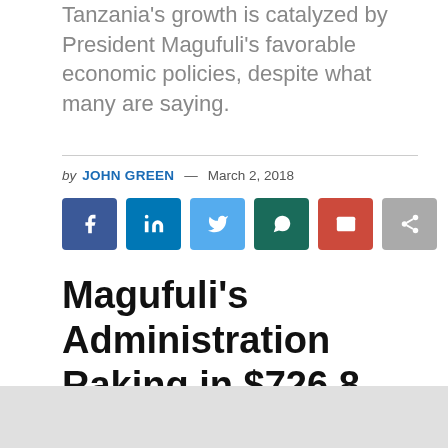Tanzania's growth is catalyzed by President Magufuli's favorable economic policies, despite what many are saying.
by JOHN GREEN — March 2, 2018
[Figure (infographic): Social sharing buttons: Facebook, LinkedIn, Twitter, WhatsApp, Email, Share]
Magufuli's Administration Raking in $726.8 million via economic growth in January 2018